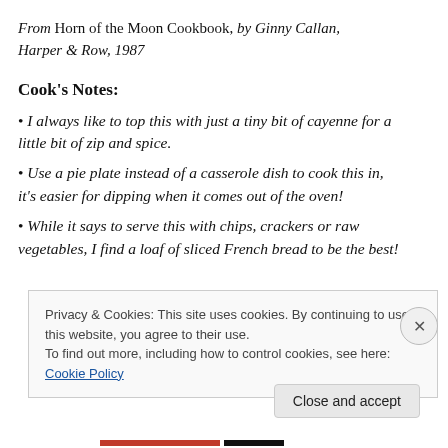From Horn of the Moon Cookbook, by Ginny Callan, Harper & Row, 1987
Cook's Notes:
I always like to top this with just a tiny bit of cayenne for a little bit of zip and spice.
Use a pie plate instead of a casserole dish to cook this in, it's easier for dipping when it comes out of the oven!
While it says to serve this with chips, crackers or raw vegetables, I find a loaf of sliced French bread to be the best!
Privacy & Cookies: This site uses cookies. By continuing to use this website, you agree to their use. To find out more, including how to control cookies, see here: Cookie Policy